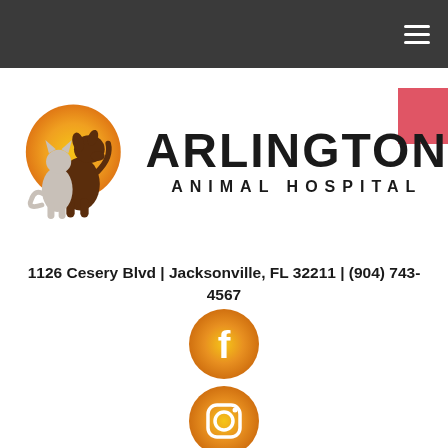Navigation bar with hamburger menu
[Figure (logo): Arlington Animal Hospital logo with a dog and cat silhouette against a golden sun circle, with the text ARLINGTON ANIMAL HOSPITAL]
1126 Cesery Blvd | Jacksonville, FL 32211 | (904) 743-4567
[Figure (logo): Facebook social media icon - gradient orange/gold circular button with white 'f' letter]
[Figure (logo): Instagram social media icon - gradient orange/gold circular button with Instagram camera icon]